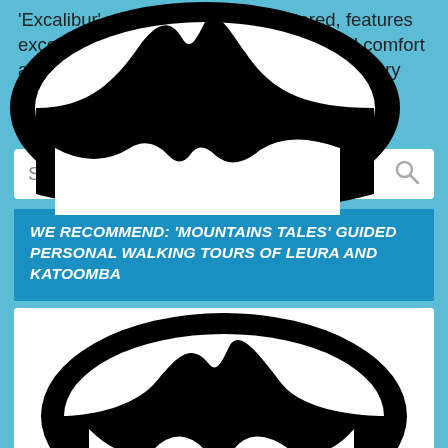'Excalibur' recently rebuilt and restored, features exceptional high-seat visibility, lambswool comfort and mod-con equipped and fitted out for luxury touring of our countryside backroads and into remote wilderness.
Search ...
WE RECOMMEND: 'MOUNTAINS TALES' GUIDED PERSONAL WALKING TOURS OF LEURA AND KATOOMBA
[Figure (logo): Black mountain silhouette logo inside an oval/circle shape on white background]